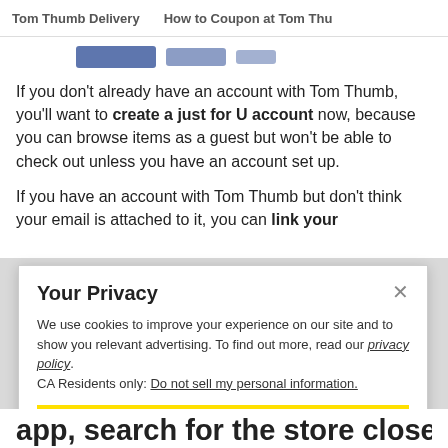Tom Thumb Delivery    How to Coupon at Tom Thu
[Figure (screenshot): Partial image of Tom Thumb logo/banner, cropped at top]
If you don't already have an account with Tom Thumb, you'll want to create a just for U account now, because you can browse items as a guest but won't be able to check out unless you have an account set up.
If you have an account with Tom Thumb but don't think your email is attached to it, you can link your
Your Privacy
We use cookies to improve your experience on our site and to show you relevant advertising. To find out more, read our privacy policy.
CA Residents only: Do not sell my personal information.
Ok
app, search for the store closest